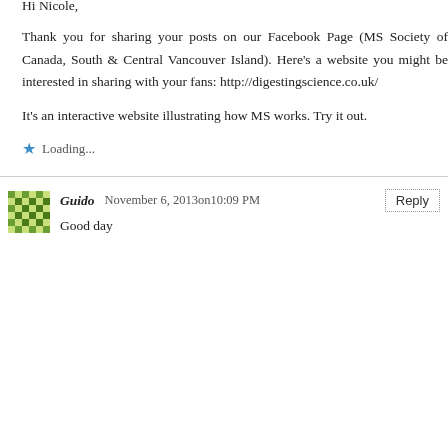Hi Nicole,
Thank you for sharing your posts on our Facebook Page (MS Society of Canada, South & Central Vancouver Island). Here's a website you might be interested in sharing with your fans: http://digestingscience.co.uk/
It's an interactive website illustrating how MS works. Try it out.
Loading...
Guido   November 6, 2013on10:09 PM
Good day